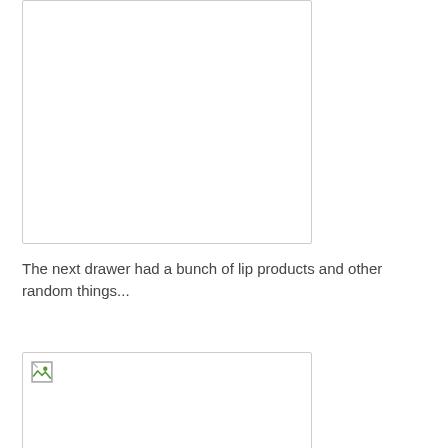[Figure (photo): First image placeholder box, partially visible at top of page, appears blank/white with light gray border]
The next drawer had a bunch of lip products and other random things...
[Figure (photo): Second image placeholder box, partially visible at bottom of page, shows broken image icon in top-left corner]